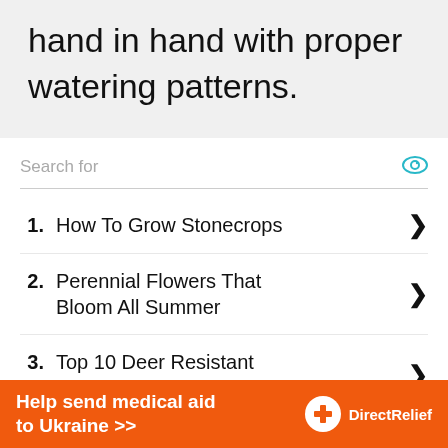hand in hand with proper watering patterns.
Search for
1. How To Grow Stonecrops
2. Perennial Flowers That Bloom All Summer
3. Top 10 Deer Resistant Plants To Grow
Help send medical aid to Ukraine >>  DirectRelief